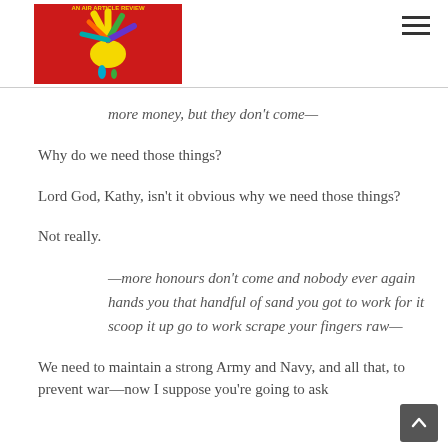[Figure (logo): Red rectangular logo with colorful hand/splash illustration and text above it]
more money, but they don't come—
Why do we need those things?
Lord God, Kathy, isn't it obvious why we need those things?
Not really.
—more honours don't come and nobody ever again hands you that handful of sand you got to work for it scoop it up go to work scrape your fingers raw—
We need to maintain a strong Army and Navy, and all that, to prevent war—now I suppose you're going to ask